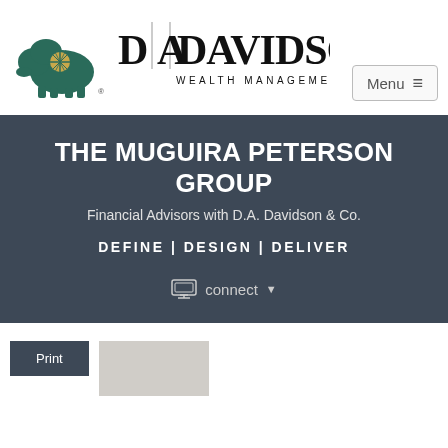[Figure (logo): D.A. Davidson Wealth Management logo with green bison and star on left, and 'D|A|DAVIDSON WEALTH MANAGEMENT' text on right]
Menu ≡
THE MUGUIRA PETERSON GROUP
Financial Advisors with D.A. Davidson & Co.
DEFINE | DESIGN | DELIVER
connect ▼
Print